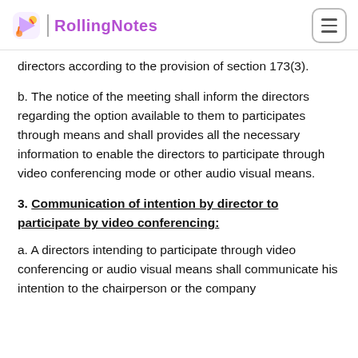RollingNotes
directors according to the provision of section 173(3).
b. The notice of the meeting shall inform the directors regarding the option available to them to participates through means and shall provides all the necessary information to enable the directors to participate through video conferencing mode or other audio visual means.
3. Communication of intention by director to participate by video conferencing:
a. A directors intending to participate through video conferencing or audio visual means shall communicate his intention to the chairperson or the company